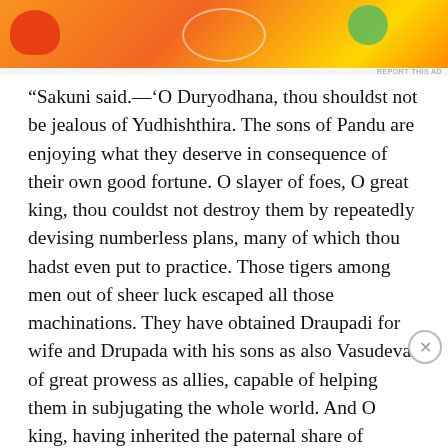[Figure (other): Colorful advertisement banner with red crab/lobster and green fruit graphics on orange/yellow gradient background]
REPORT THIS AD
“Sakuni said.—‘O Duryodhana, thou shouldst not be jealous of Yudhishthira. The sons of Pandu are enjoying what they deserve in consequence of their own good fortune. O slayer of foes, O great king, thou couldst not destroy them by repeatedly devising numberless plans, many of which thou hadst even put to practice. Those tigers among men out of sheer luck escaped all those machinations. They have obtained Draupadi for wife and Drupada with his sons as also Vasudeva of great prowess as allies, capable of helping them in subjugating the whole world. And O king, having inherited the paternal share of
Advertisements
[Figure (other): DuckDuckGo advertisement: orange background with text 'Search, browse, and email with more privacy. All in One Free App' and DuckDuckGo logo on dark background]
REPORT THIS AD